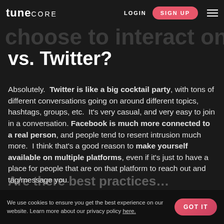tune CORE  LOGIN  SIGN UP
differences in the way fans choose to interact on Facebook vs. Twitter?
Absolutely. Twitter is like a big cocktail party, with tons of different conversations going on around different topics, hashtags, groups, etc. It's very casual, and very easy to join in a conversation. Facebook is much more connected to a real person, and people tend to resent intrusion much more. I think that's a good reason to make yourself available on multiple platforms, even if it's just to have a place for people that are on that platform to reach out and tag/message you.
We use cookies to ensure you get the best experience on our website. Learn more about our privacy policy here.  GOT IT